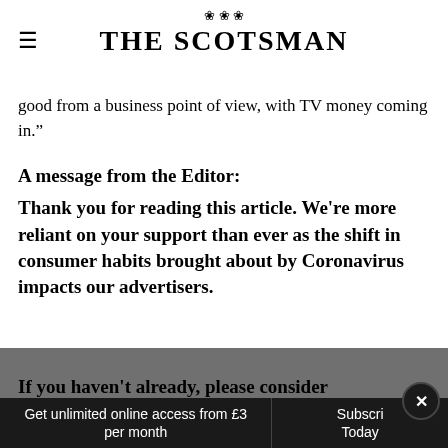THE SCOTSMAN
good from a business point of view, with TV money coming in.”
A message from the Editor:
Thank you for reading this article. We're more reliant on your support than ever as the shift in consumer habits brought about by Coronavirus impacts our advertisers.
If you haven't already, please consider
Get unlimited online access from £3 per month | Subscribe Today